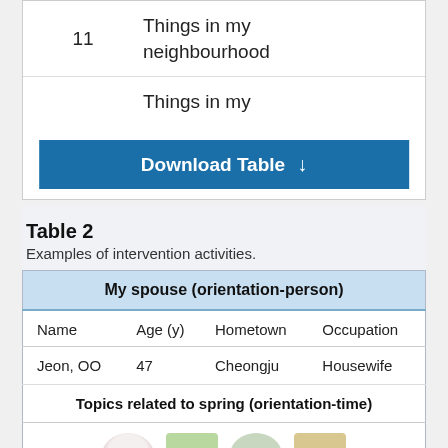|  | 11 | Things in my neighbourhood |
| --- | --- | --- |
|  |  | Things in my |
| My spouse (orientation-person) |
| --- |
| Name | Age (y) | Hometown | Occupation |
| Jeon, OO | 47 | Cheongju | Housewife |
| Topics related to spring (orientation-time) |
| [images] |